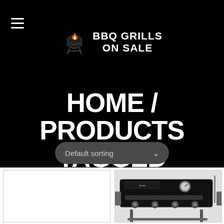BBQ GRILLS ON SALE
HOME / PRODUCTS TAGGED “SUNBEAM GAS GRILL”
Default sorting
[Figure (photo): Product card (empty/white) on left]
[Figure (photo): Gas grill product image on right, showing a black BBQ grill with knobs and a temperature gauge]